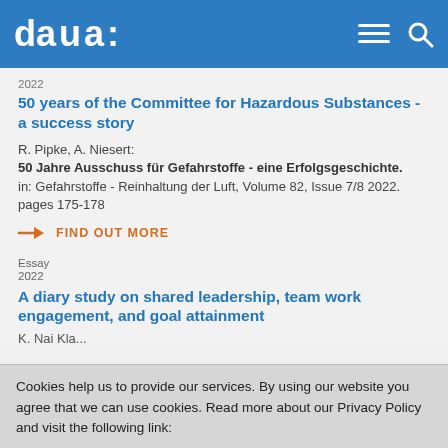baua:
2022
50 years of the Committee for Hazardous Substances - a success story
R. Pipke, A. Niesert:
50 Jahre Ausschuss für Gefahrstoffe - eine Erfolgsgeschichte.
in: Gefahrstoffe - Reinhaltung der Luft, Volume 82, Issue 7/8 2022. pages 175-178
→ FIND OUT MORE
Essay
2022
A diary study on shared leadership, team work engagement, and goal attainment
Cookies help us to provide our services. By using our website you agree that we can use cookies. Read more about our Privacy Policy and visit the following link: